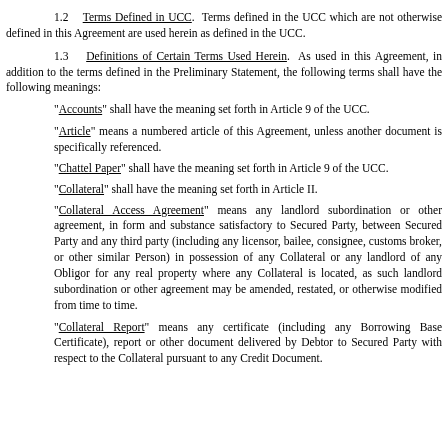1.2  Terms Defined in UCC.  Terms defined in the UCC which are not otherwise defined in this Agreement are used herein as defined in the UCC.
1.3  Definitions of Certain Terms Used Herein.  As used in this Agreement, in addition to the terms defined in the Preliminary Statement, the following terms shall have the following meanings:
"Accounts" shall have the meaning set forth in Article 9 of the UCC.
"Article" means a numbered article of this Agreement, unless another document is specifically referenced.
"Chattel Paper" shall have the meaning set forth in Article 9 of the UCC.
"Collateral" shall have the meaning set forth in Article II.
"Collateral Access Agreement" means any landlord subordination or other agreement, in form and substance satisfactory to Secured Party, between Secured Party and any third party (including any licensor, bailee, consignee, customs broker, or other similar Person) in possession of any Collateral or any landlord of any Obligor for any real property where any Collateral is located, as such landlord subordination or other agreement may be amended, restated, or otherwise modified from time to time.
"Collateral Report" means any certificate (including any Borrowing Base Certificate), report or other document delivered by Debtor to Secured Party with respect to the Collateral pursuant to any Credit Document.